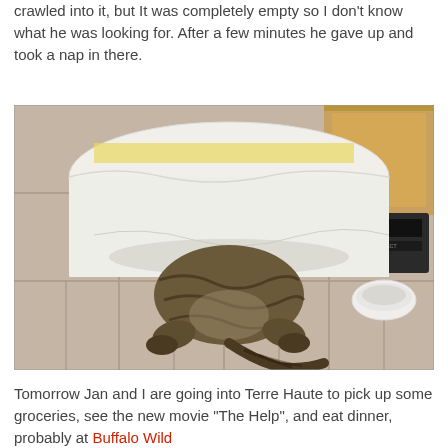crawled into it, but It was completely empty so I don't know what he was looking for. After a few minutes he gave up and took a nap in there.
[Figure (photo): A tabby cat crawling headfirst into a white plastic bag on a tiled kitchen floor. A wooden cabinet and a small white bowl are visible in the background.]
Tomorrow Jan and I are going into Terre Haute to pick up some groceries, see the new movie "The Help", and eat dinner, probably at Buffalo Wild